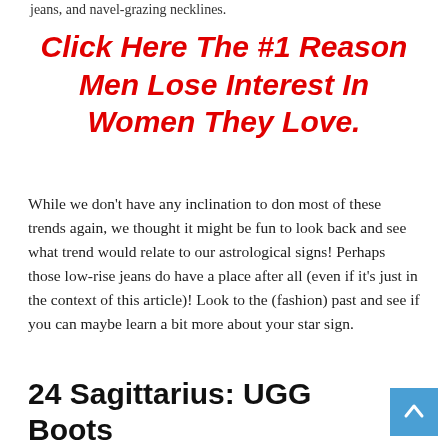jeans, and navel-grazing necklines.
Click Here The #1 Reason Men Lose Interest In Women They Love.
While we don't have any inclination to don most of these trends again, we thought it might be fun to look back and see what trend would relate to our astrological signs! Perhaps those low-rise jeans do have a place after all (even if it's just in the context of this article)! Look to the (fashion) past and see if you can maybe learn a bit more about your star sign.
24 Sagittarius: UGG Boots